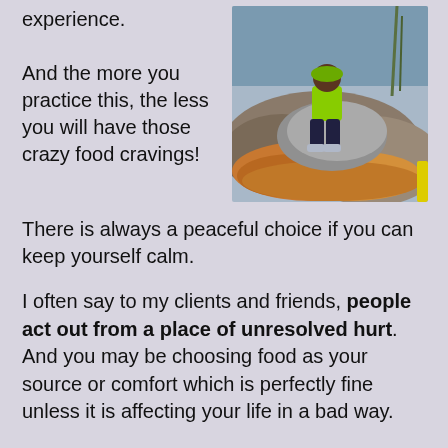experience.
And the more you practice this, the less you will have those crazy food cravings!
[Figure (photo): Person in bright green hoodie sitting on rocks surrounded by fallen autumn leaves near water]
There is always a peaceful choice if you can keep yourself calm.
I often say to my clients and friends, people act out from a place of unresolved hurt. And you may be choosing food as your source or comfort which is perfectly fine unless it is affecting your life in a bad way.
Maybe it is your unresolved hurt that is driving the